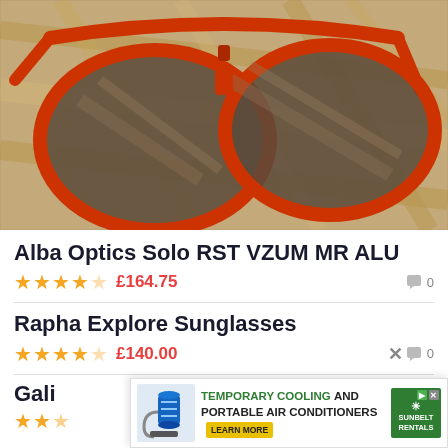[Figure (photo): Red-framed Alba Optics Solo RST sunglasses with mirrored lenses resting on a wooden surface]
Alba Optics Solo RST VZUM MR ALU
★★★★☆ £164.75  [comment icon] 0
Rapha Explore Sunglasses
★★★★☆ £140.00  [comment icon] 0
Gali...
★★★... [comment icon] 2
[Figure (infographic): Advertisement banner: TEMPORARY COOLING AND PORTABLE AIR CONDITIONERS with LEARN MORE button and Sunbelt Rentals logo]